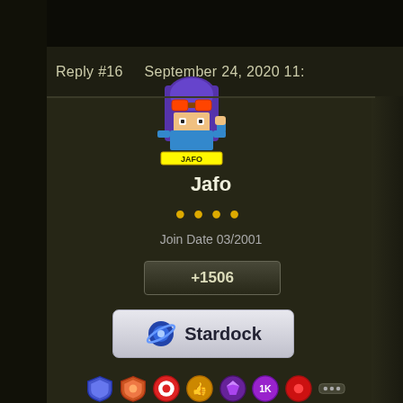Reply #16    September 24, 2020 11:
[Figure (illustration): Pixel art avatar of a character wearing a purple helmet with goggles, labeled 'Jafo' underneath]
Jafo
●●●●
Join Date 03/2001
+1506
[Figure (logo): Stardock logo badge with planet/orbit icon and text 'Stardock']
[Figure (illustration): Achievement badges row including shield, orange shield, target, thumbs up, purple gem, 1K badge, red dot, and ellipsis badges]
[Figure (photo): Meme image showing a person standing next to a white Volkswagen Beetle car with a speech bubble saying 'What happene' (cropped). Dark outdoor background.]